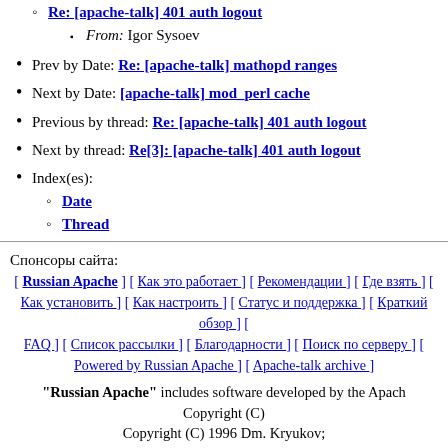Re: [apache-talk] 401 auth logout (link)
From: Igor Sysoev
Prev by Date: Re: [apache-talk] mathopd ranges
Next by Date: [apache-talk] mod_perl cache
Previous by thread: Re: [apache-talk] 401 auth logout
Next by thread: Re[3]: [apache-talk] 401 auth logout
Index(es):
Date
Thread
Спонсоры сайта:
[ Russian Apache ] [ Как это работает ] [ Рекомендации ] [ Где взять ] [ Как установить ] [ Как настроить ] [ Статус и поддержка ] [ Краткий обзор ] [ FAQ ] [ Список рассылки ] [ Благодарности ] [ Поиск по серверу ] [ Powered by Russian Apache ] [ Apache-talk archive ]
"Russian Apache" includes software developed by the Apach
Copyright (C)
Copyright (C) 1996 Dm. Kryukov;